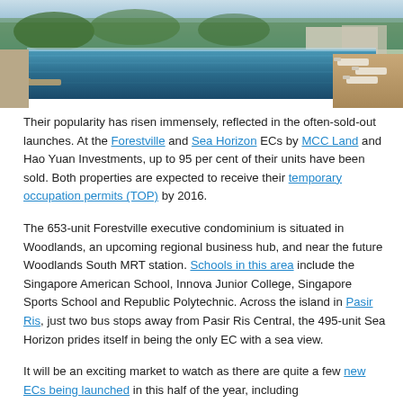[Figure (photo): Outdoor swimming pool area with lounge chairs, surrounded by lush greenery and resort-style architecture]
Their popularity has risen immensely, reflected in the often-sold-out launches. At the Forestville and Sea Horizon ECs by MCC Land and Hao Yuan Investments, up to 95 per cent of their units have been sold. Both properties are expected to receive their temporary occupation permits (TOP) by 2016.
The 653-unit Forestville executive condominium is situated in Woodlands, an upcoming regional business hub, and near the future Woodlands South MRT station. Schools in this area include the Singapore American School, Innova Junior College, Singapore Sports School and Republic Polytechnic. Across the island in Pasir Ris, just two bus stops away from Pasir Ris Central, the 495-unit Sea Horizon prides itself in being the only EC with a sea view.
It will be an exciting market to watch as there are quite a few new ECs being launched in this half of the year, including